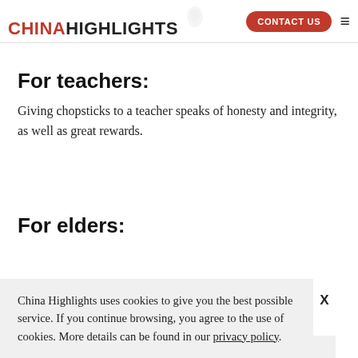CHINA HIGHLIGHTS | CONTACT US
For teachers:
Giving chopsticks to a teacher speaks of honesty and integrity, as well as great rewards.
For elders:
China Highlights uses cookies to give you the best possible service. If you continue browsing, you agree to the use of cookies. More details can be found in our privacy policy.